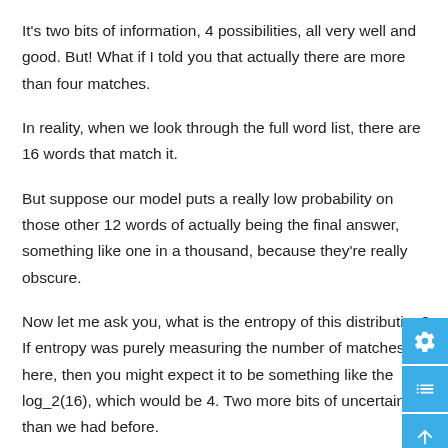It's two bits of information, 4 possibilities, all very well and good. But! What if I told you that actually there are more than four matches.
In reality, when we look through the full word list, there are 16 words that match it.
But suppose our model puts a really low probability on those other 12 words of actually being the final answer, something like one in a thousand, because they're really obscure.
Now let me ask you, what is the entropy of this distribution? If entropy was purely measuring the number of matches here, then you might expect it to be something like the log_2(16), which would be 4. Two more bits of uncertainty than we had before.